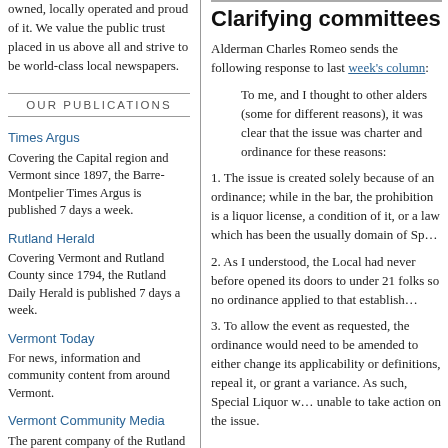owned, locally operated and proud of it. We value the public trust placed in us above all and strive to be world-class local newspapers.
OUR PUBLICATIONS
Times Argus
Covering the Capital region and Vermont since 1897, the Barre-Montpelier Times Argus is published 7 days a week.
Rutland Herald
Covering Vermont and Rutland County since 1794, the Rutland Daily Herald is published 7 days a week.
Vermont Today
For news, information and community content from around Vermont.
Vermont Community Media
The parent company of the Rutland Herald and Times Argus, in the third generation of Vermont ownership.
Vermont Classifieds On the Web
Homes, cars, jobs, for sale - all at
Clarifying committees
Alderman Charles Romeo sends the following response to last week's column:
To me, and I thought to other alders (some for different reasons), it was clear that the issue was charter and ordinance for these reasons:
1. The issue is created solely because of an ordinance; while in the bar, the prohibition is a liquor license, a condition of it, or a law which has been the usually domain of Special Liquor.
2. As I understood, the Local had never before opened its doors to under 21 folks so no ordinance applied to that establishment.
3. To allow the event as requested, the ordinance would need to be amended to either change its applicability or definitions, repeal it, or grant a variance. As such, Special Liquor was unable to take action on the issue.